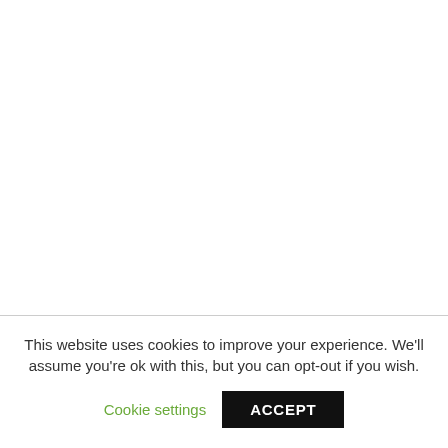This website uses cookies to improve your experience. We'll assume you're ok with this, but you can opt-out if you wish.
Cookie settings
ACCEPT